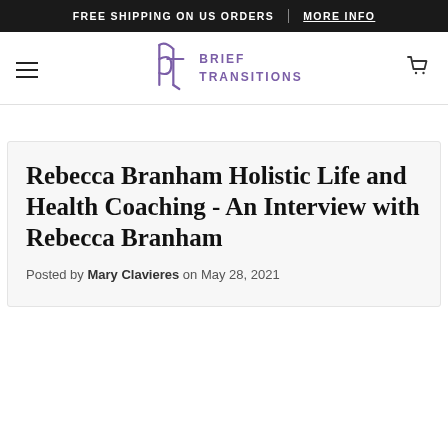FREE SHIPPING ON US ORDERS | MORE INFO
[Figure (logo): Brief Transitions logo with stylized 'bt' monogram in purple and text 'BRIEF TRANSITIONS']
Rebecca Branham Holistic Life and Health Coaching - An Interview with Rebecca Branham
Posted by Mary Clavieres on May 28, 2021